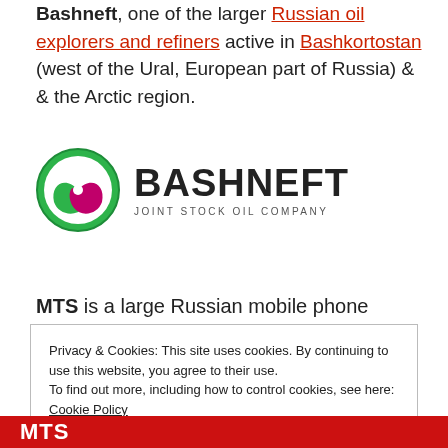Bashneft, one of the larger Russian oil explorers and refiners active in Bashkortostan (west of the Ural, European part of Russia) & & the Arctic region.
[Figure (logo): Bashneft Joint Stock Oil Company logo — green circle with pink/magenta leaf shape, beside bold text BASHNEFT and subtitle JOINT STOCK OIL COMPANY]
MTS is a large Russian mobile phone company with
Privacy & Cookies: This site uses cookies. By continuing to use this website, you agree to their use.
To find out more, including how to control cookies, see here: Cookie Policy
[Figure (logo): MTS red banner logo at bottom of page with white MTS text and 'a step ahead' slogan in red on white background]